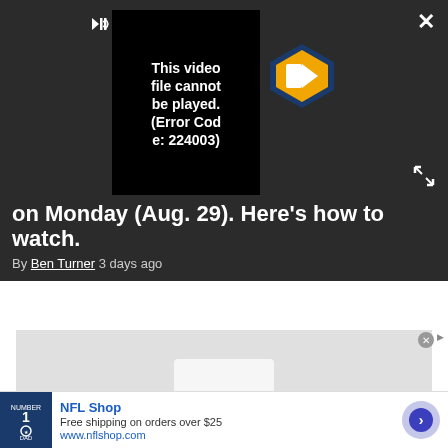[Figure (screenshot): Video player showing error message: 'This video file cannot be played. (Error Code: 224003)' with PLAY SOUND control and LS logo]
on Monday (Aug. 29). Here's how to watch.
By Ben Turner 3 days ago
[Figure (photo): Gray placeholder ad area with partial white box visible]
'Merciless' sea monster with broken
[Figure (screenshot): NFL Shop advertisement banner: Free shipping on orders over $25, www.nflshop.com]